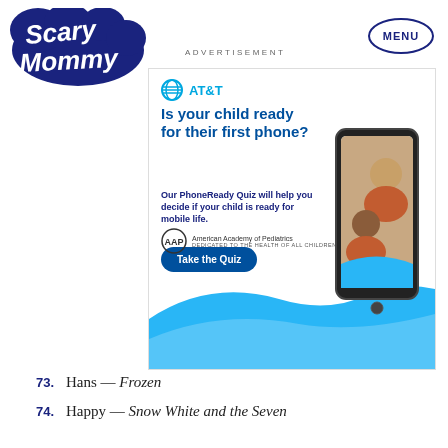[Figure (logo): Scary Mommy logo in dark blue stylized script]
ADVERTISEMENT
[Figure (other): MENU button in oval border]
[Figure (other): AT&T advertisement: Is your child ready for their first phone? Our PhoneReady Quiz will help you decide if your child is ready for mobile life. Take the Quiz button. American Academy of Pediatrics logo.]
73. Hans — Frozen
74. Happy — Snow White and the Seven